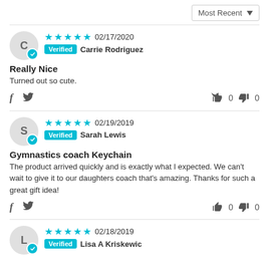Most Recent ▼
C | ★★★★★ 02/17/2020 | Verified Carrie Rodriguez
Really Nice
Turned out so cute.
f  🐦  👍 0  👎 0
S | ★★★★★ 02/19/2019 | Verified Sarah Lewis
Gymnastics coach Keychain
The product arrived quickly and is exactly what I expected. We can't wait to give it to our daughters coach that's amazing. Thanks for such a great gift idea!
f  🐦  👍 0  👎 0
L | ★★★★★ 02/18/2019 | Verified Lisa A Kriskewic